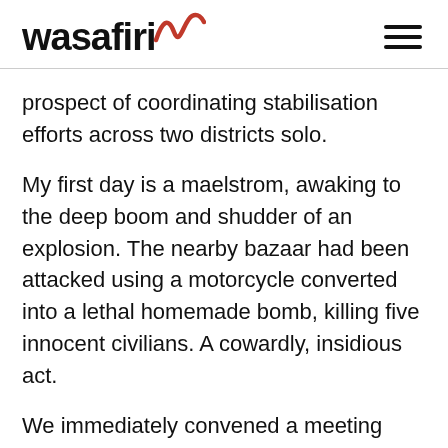wasafiri
prospect of coordinating stabilisation efforts across two districts solo.
My first day is a maelstrom, awaking to the deep boom and shudder of an explosion. The nearby bazaar had been attacked using a motorcycle converted into a lethal homemade bomb, killing five innocent civilians. A cowardly, insidious act.
We immediately convened a meeting with the Government – where my worries